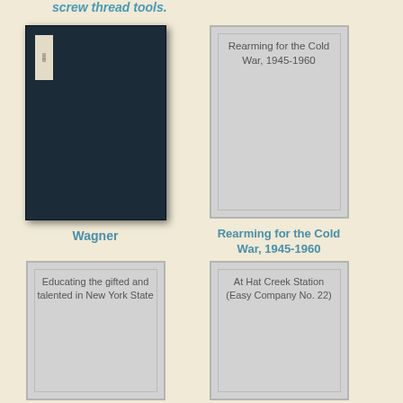screw thread tools.
[Figure (photo): Dark navy hardcover book (Wagner) with spine label]
Wagner
[Figure (illustration): Placeholder book cover for Rearming for the Cold War, 1945-1960]
Rearming for the Cold War, 1945-1960
[Figure (illustration): Placeholder book cover for Educating the gifted and talented in New York State]
[Figure (illustration): Placeholder book cover for At Hat Creek Station (Easy Company No. 22)]